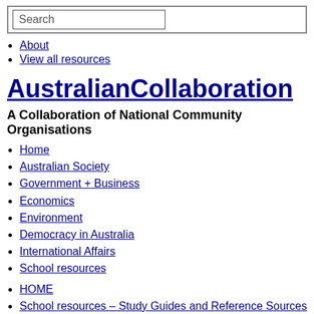Search
About
View all resources
AustralianCollaboration
A Collaboration of National Community Organisations
Home
Australian Society
Government + Business
Economics
Environment
Democracy in Australia
International Affairs
School resources
HOME
School resources – Study Guides and Reference Sources
Reference sources
Specific sources